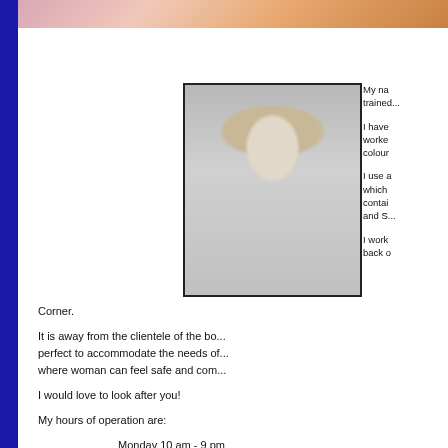[Figure (photo): Top banner image showing partial photo, appears to be portrait/lifestyle image with warm tones]
[Figure (photo): Black and white portrait photo of a young woman with hair up, in front of brick wall, wearing patterned top]
My na... trained...
I have worke... colour...
I use a... which... contai... and S...
I work... back o... Corner.
It is away from the clientele of the bo... perfect to accommodate the needs of... where woman can feel safe and comb...
I would love to look after you!
My hours of operation are:
Monday 10 am - 9 pm
Tuesday 10 am - 4 pm
Wednesday closed